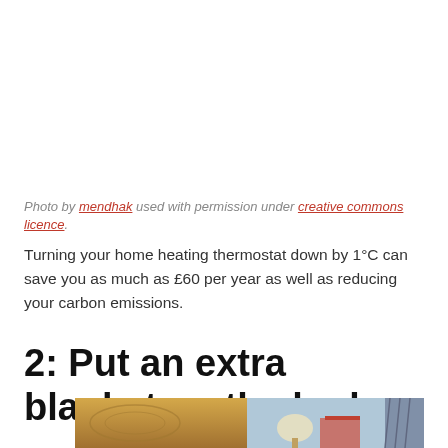Photo by mendhak used with permission under creative commons licence.
Turning your home heating thermostat down by 1°C can save you as much as £60 per year as well as reducing your carbon emissions.
2: Put an extra blanket on the bed
[Figure (photo): Photo of a wooden bed headboard with a lamp and books on a bedside table visible, and a curtain in the background.]